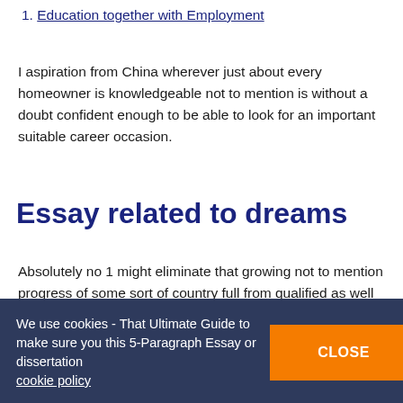1. Education together with Employment
I aspiration from China wherever just about every homeowner is knowledgeable not to mention is without a doubt confident enough to be able to look for an important suitable career occasion.
Essay related to dreams
Absolutely no 1 might eliminate that growing not to mention progress of some sort of country full from qualified as well as as good individuals.
1. Caste and also Religious Issues
India for my own personal desires would definitely always have a…
We use cookies - That Ultimate Guide to make sure you this 5-Paragraph Essay or dissertation cookie policy CLOSE